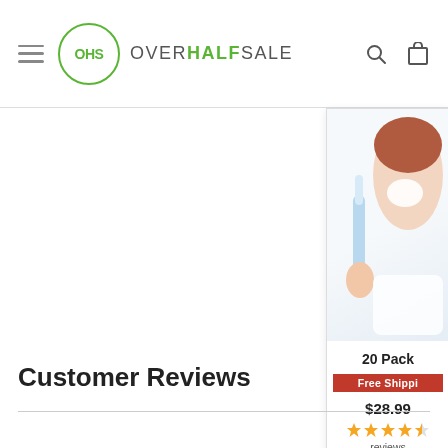OHS OVERHALFSALE
[Figure (screenshot): Partially visible product card on the right side showing a woman holding an electric toothbrush, product title '20 Pack', a red 'Free Shipping' badge, price $28.99, 4.5 star rating, and 'reviews' text]
Customer Reviews